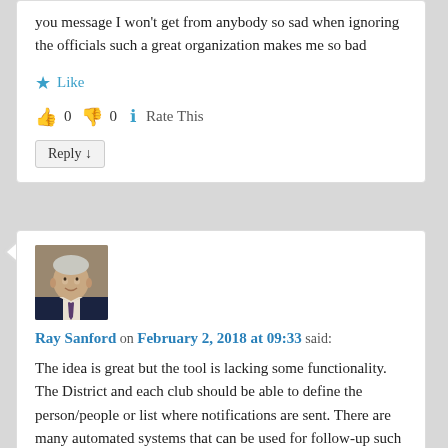you message I won't get from anybody so sad when ignoring the officials such a great organization makes me so bad
★ Like
👍 0 👎 0 ℹ Rate This
Reply ↓
[Figure (photo): Profile photo of Ray Sanford, a middle-aged man in a suit and tie]
Ray Sanford on February 2, 2018 at 09:33 said:
The idea is great but the tool is lacking some functionality. The District and each club should be able to define the person/people or list where notifications are sent. There are many automated systems that can be used for follow-up such as MailChimp and Constant Contact.